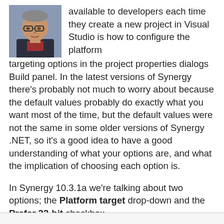[Figure (photo): Headshot photo of a man wearing glasses, with a dark jacket and red shirt, against a neutral background.]
available to developers each time they create a new project in Visual Studio is how to configure the platform targeting options in the project properties dialogs Build panel. In the latest versions of Synergy there's probably not much to worry about because the default values probably do exactly what you want most of the time, but the default values were not the same in some older versions of Synergy .NET, so it's a good idea to have a good understanding of what your options are, and what the implication of choosing each option is.
In Synergy 10.3.1a we're talking about two options; the Platform target drop-down and the Prefer 32-bit checkbox.